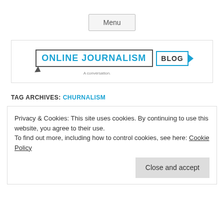Menu
[Figure (logo): Online Journalism Blog logo with speech bubble design and tagline 'A conversation.']
TAG ARCHIVES: CHURNALISM
Privacy & Cookies: This site uses cookies. By continuing to use this website, you agree to their use.
To find out more, including how to control cookies, see here: Cookie Policy
Close and accept